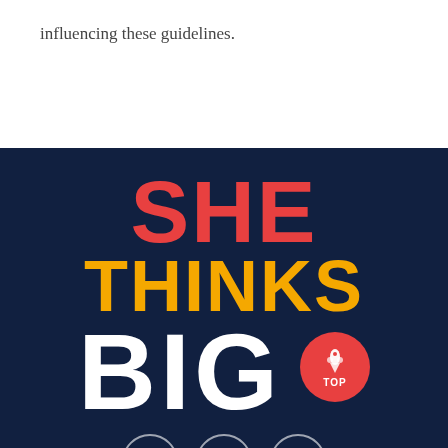influencing these guidelines.
[Figure (illustration): Promotional graphic with dark navy blue background showing the text 'SHE' in large red letters, 'THINKS' in large amber/gold letters, and 'BIG' in large white letters. A red circular button with a rocket icon and 'TOP' label appears to the right of 'BIG'. Three small circular icons appear at the bottom.]